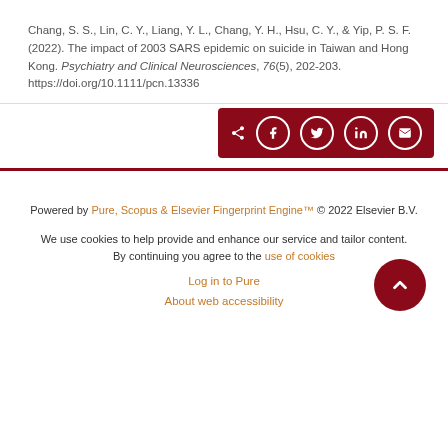Chang, S. S., Lin, C. Y., Liang, Y. L., Chang, Y. H., Hsu, C. Y., & Yip, P. S. F. (2022). The impact of 2003 SARS epidemic on suicide in Taiwan and Hong Kong. Psychiatry and Clinical Neurosciences, 76(5), 202-203. https://doi.org/10.1111/pcn.13336
[Figure (other): Share buttons bar with dark red background containing share icon, Facebook, Twitter, LinkedIn, and email icons in white circles]
Powered by Pure, Scopus & Elsevier Fingerprint Engine™ © 2022 Elsevier B.V. We use cookies to help provide and enhance our service and tailor content. By continuing you agree to the use of cookies. Log in to Pure. About web accessibility.